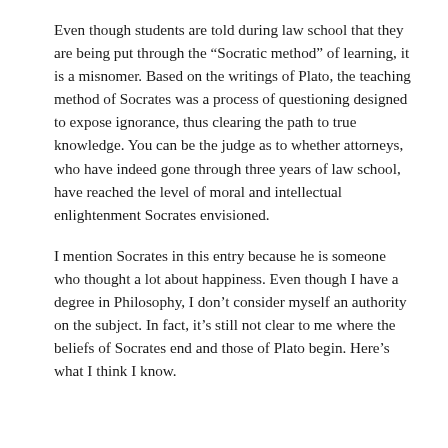Even though students are told during law school that they are being put through the “Socratic method” of learning, it is a misnomer. Based on the writings of Plato, the teaching method of Socrates was a process of questioning designed to expose ignorance, thus clearing the path to true knowledge. You can be the judge as to whether attorneys, who have indeed gone through three years of law school, have reached the level of moral and intellectual enlightenment Socrates envisioned.
I mention Socrates in this entry because he is someone who thought a lot about happiness. Even though I have a degree in Philosophy, I don’t consider myself an authority on the subject. In fact, it’s still not clear to me where the beliefs of Socrates end and those of Plato begin. Here’s what I think I know.